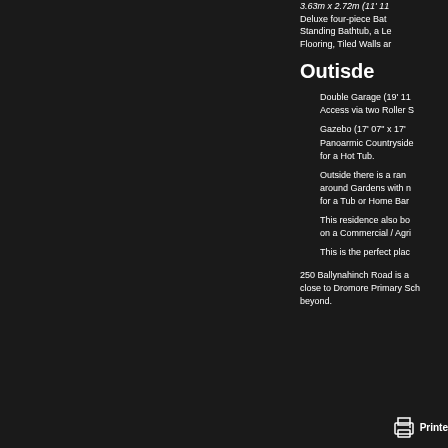3.63m x 2.72m (11' 11
Deluxe four-piece Bat
Standing Bathtub, a Le
Flooring, Tiled Walls ar
Outisde
Double Garage (19' 11
Access via two Roller S
Gazebo (17' 07" x 17'
Panoarmic Countryside
for a Hot Tub.
Outside there is a ran
around Gardens with n
for a Tub or Home Bar
This residence also bo
on a Commercial / Agri
This is the perfect plac
250 Ballynahinch Road is a
close to Dromore Primary Sch
beyond.
Printe